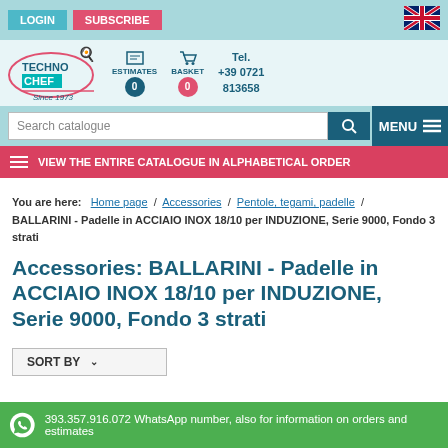LOGIN  SUBSCRIBE
[Figure (logo): TechnoChef logo with oval outline, chef hat icon, Since 1973 text]
ESTIMATES 0   BASKET 0   Tel. +39 0721 813658
Search catalogue   MENU
VIEW THE ENTIRE CATALOGUE IN ALPHABETICAL ORDER
You are here:  Home page / Accessories / Pentole, tegami, padelle / BALLARINI - Padelle in ACCIAIO INOX 18/10 per INDUZIONE, Serie 9000, Fondo 3 strati
Accessories: BALLARINI - Padelle in ACCIAIO INOX 18/10 per INDUZIONE, Serie 9000, Fondo 3 strati
SORT BY
393.357.916.072 WhatsApp number, also for information on orders and estimates